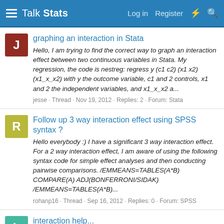Talk Stats — Log in · Register · ⚡ · 🔍
graphing an interaction in Stata
Hello, I am trying to find the correct way to graph an interaction effect between two continuous variables in Stata. My regression, the code is nestreg: regress y (c1 c2) (x1 x2) (x1_x_x2) with y the outcome variable, c1 and 2 controls, x1 and 2 the independent variables, and x1_x_x2 a...
jesse · Thread · Nov 19, 2012 · Replies: 2 · Forum: Stata
Follow up 3 way interaction effect using SPSS syntax ?
Hello everybody :) I have a significant 3 way interaction effect. For a 2 way interaction effect, I am aware of using the following syntax code for simple effect analyses and then conducting pairwise comparisons. /EMMEANS=TABLES(A*B) COMPARE(A) ADJ(BONFERRONI/SIDAK) /EMMEANS=TABLES(A*B)...
rohanp16 · Thread · Sep 16, 2012 · Replies: 0 · Forum: SPSS
interaction help...
i have an nominal IV with four levels, an ordinal IV and ordinal